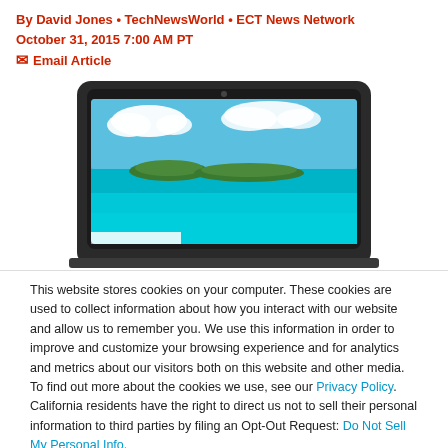By David Jones • TechNewsWorld • ECT News Network
October 31, 2015 7:00 AM PT
✉ Email Article
[Figure (photo): Laptop computer displaying a tropical ocean and island wallpaper with blue sky and clouds.]
This website stores cookies on your computer. These cookies are used to collect information about how you interact with our website and allow us to remember you. We use this information in order to improve and customize your browsing experience and for analytics and metrics about our visitors both on this website and other media. To find out more about the cookies we use, see our Privacy Policy. California residents have the right to direct us not to sell their personal information to third parties by filing an Opt-Out Request: Do Not Sell My Personal Info.
Accept